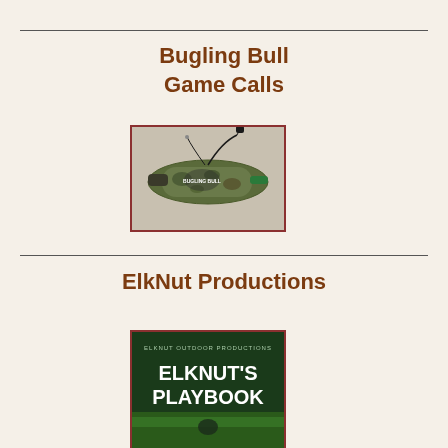Bugling Bull
Game Calls
[Figure (photo): Photo of a Bugling Bull game call product — a camouflage-wrapped elk call with cord and small black bell attachment, shown on a light background.]
ElkNut Productions
[Figure (photo): Photo of ElkNut's Playbook DVD/product cover — dark green background with bold white text reading 'ELKNUT'S PLAYBOOK', with smaller text 'ELKHUT OUTDOOR PRODUCTIONS' at top.]